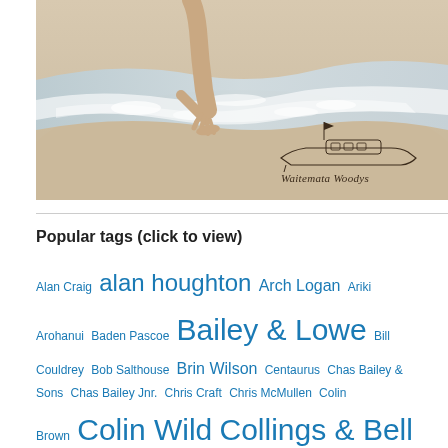[Figure (illustration): Illustration showing sandy beach/seashore with a person's hand and feet touching foamy ocean water. In the bottom right, a vintage boat line-drawing logo with the text 'Waitemata Woodys' in script lettering.]
Popular tags (click to view)
Alan Craig  alan houghton  Arch Logan  Ariki Arohanui  Baden Pascoe  Bailey & Lowe  Bill Couldrey  Bob Salthouse  Brin Wilson  Centaurus  Chas Bailey & Sons  Chas Bailey Jnr.  Chris Craft  Chris McMullen  Colin Brown  Colin Wild  Collings & Bell